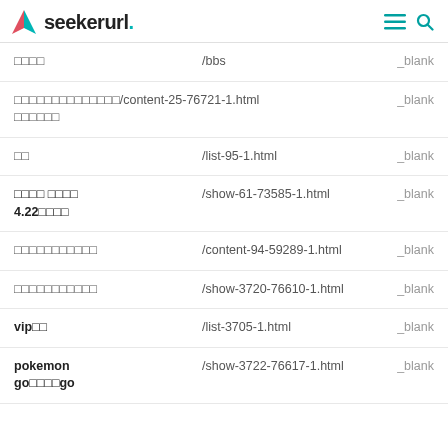seekerurl.
| Name | URL | Target |
| --- | --- | --- |
| □□□□ | /bbs | _blank |
| □□□□□□□□□□□□□□/content-25-76721-1.html □□□□□□ |  | _blank |
| □□ | /list-95-1.html | _blank |
| □□□□ □□□□ 4.22□□□□ | /show-61-73585-1.html | _blank |
| □□□□□□□□□□□ | /content-94-59289-1.html | _blank |
| □□□□□□□□□□□ | /show-3720-76610-1.html | _blank |
| vip□□ | /list-3705-1.html | _blank |
| pokemon go□□□□go | /show-3722-76617-1.html | _blank |